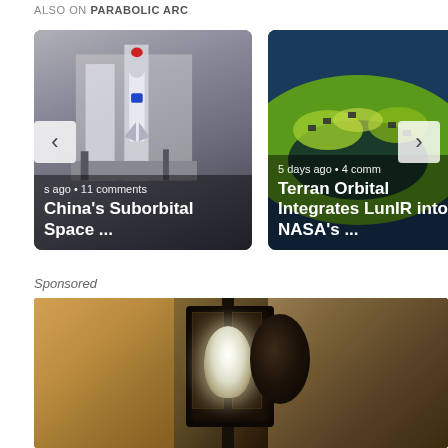ALSO ON PARABOLIC ARC
[Figure (screenshot): Carousel showing two article cards: Left card shows China's Suborbital Space ... with a rocket image, metadata 's ago · 11 comments'. Right card shows Terran Orbital Integrates LunIR into NASA's ... with a globe/landscape aerial image, metadata '5 days ago · 4 comm'. Left and right navigation arrows visible.]
Sponsored
[Figure (photo): Sponsored image showing a lantern or outdoor light fixture with a glowing bulb, mounted on a wall with textured stucco surface. Dark lantern housing with glass panels.]